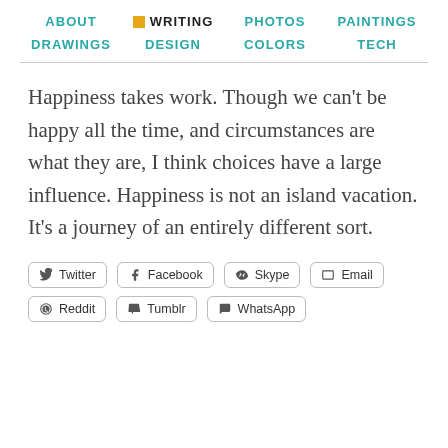ABOUT | WRITING | PHOTOS | PAINTINGS | DRAWINGS | DESIGN | COLORS | TECH
Happiness takes work. Though we can't be happy all the time, and circumstances are what they are, I think choices have a large influence. Happiness is not an island vacation. It's a journey of an entirely different sort.